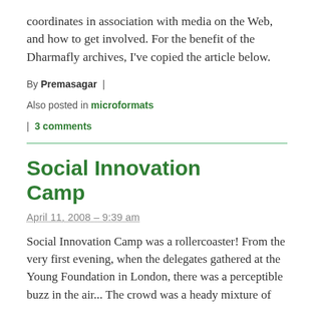coordinates in association with media on the Web, and how to get involved. For the benefit of the Dharmafly archives, I've copied the article below.
By Premasagar |
Also posted in microformats
| 3 comments
Social Innovation Camp
April 11, 2008 – 9:39 am
Social Innovation Camp was a rollercoaster! From the very first evening, when the delegates gathered at the Young Foundation in London, there was a perceptible buzz in the air... The crowd was a heady mixture of